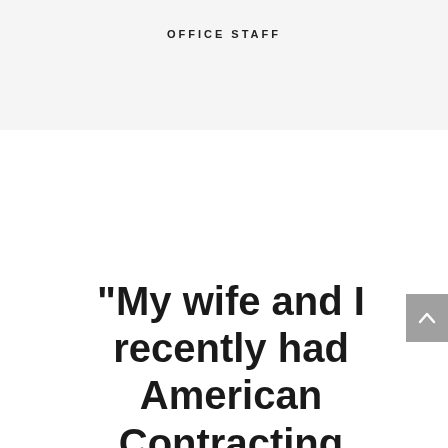OFFICE STAFF
“My wife and I recently had American Contracting Services renovate our kitchen